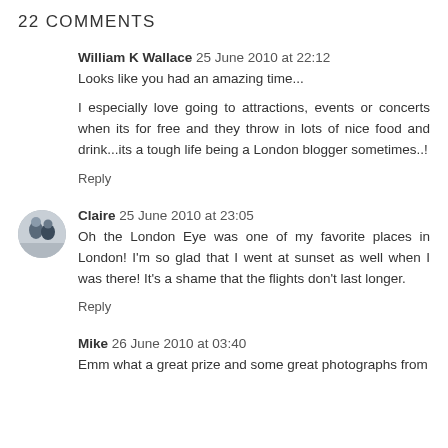22 COMMENTS
William K Wallace  25 June 2010 at 22:12
Looks like you had an amazing time...

I especially love going to attractions, events or concerts when its for free and they throw in lots of nice food and drink...its a tough life being a London blogger sometimes..!

Reply
Claire  25 June 2010 at 23:05
Oh the London Eye was one of my favorite places in London! I'm so glad that I went at sunset as well when I was there! It's a shame that the flights don't last longer.

Reply
Mike  26 June 2010 at 03:40
Emm what a great prize and some great photographs from...